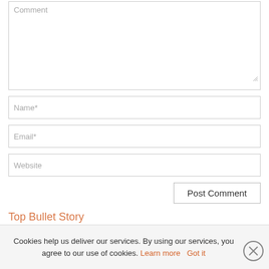[Figure (screenshot): Comment textarea input field with placeholder text 'Comment' and resize handle]
[Figure (screenshot): Name* text input field]
[Figure (screenshot): Email* text input field]
[Figure (screenshot): Website text input field]
[Figure (screenshot): Post Comment button]
Top Bullet Story...
Cookies help us deliver our services. By using our services, you agree to our use of cookies. Learn more  Got it